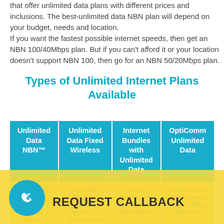that offer unlimited data plans with different prices and inclusions. The best-unlimited data NBN plan will depend on your budget, needs and location. If you want the fastest possible internet speeds, then get an NBN 100/40Mbps plan. But if you can't afford it or your location doesn't support NBN 100, then go for an NBN 50/20Mbps plan.
Types of Unlimited Internet Plans Available
| Unlimited Data NBN™ | Unlimited Data Fixed Wireless | Internet Bundles with Unlimited Data | OptiComm Unlimited Data |
| --- | --- | --- | --- |
| NBN™ uses fibre or cables to provide fast and | Unlimited Wireless internet can run up to 20 times faster | Internet bundles allow you to get the best deals for | OptiComm is a privately owned network offering a high-speed |
[Figure (other): REQUEST CALLBACK button overlay with phone icon circle in teal on yellow background]